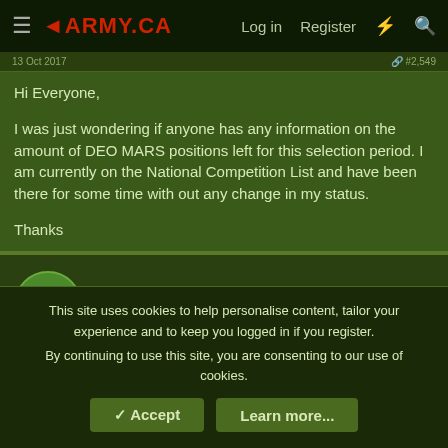Army.ca — Log in | Register
Hi Everyone,

I was just wondering if anyone has any information on the amount of DEO MARS positions left for this selection period. I am currently on the National Competition List and have been there for some time with out any change in my status.

Thanks
UnderSeaD
Guest
15 Oct 2017   #1,550
This site uses cookies to help personalise content, tailor your experience and to keep you logged in if you register.
By continuing to use this site, you are consenting to our use of cookies.
✓ Accept   Learn more...